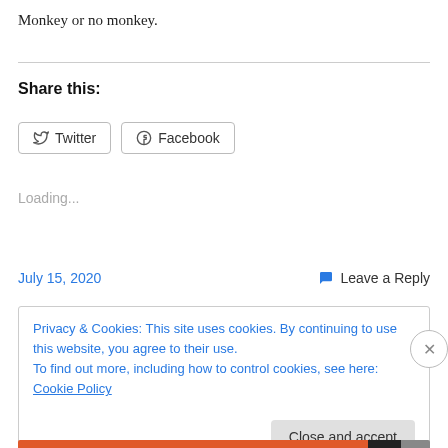Monkey or no monkey.
Share this:
Loading...
July 15, 2020
Leave a Reply
Privacy & Cookies: This site uses cookies. By continuing to use this website, you agree to their use.
To find out more, including how to control cookies, see here: Cookie Policy
Close and accept